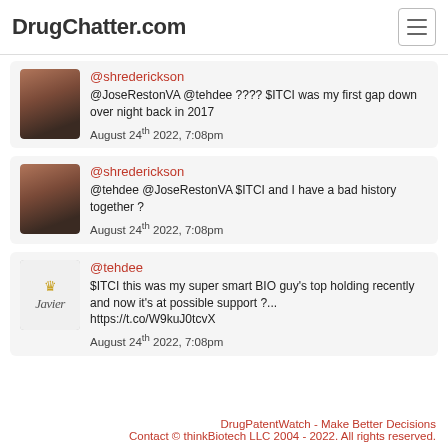DrugChatter.com
@shrederickson
@JoseRestonVA @tehdee ???? $ITCI was my first gap down over night back in 2017
August 24th 2022, 7:08pm
@shrederickson
@tehdee @JoseRestonVA $ITCI and I have a bad history together ?
August 24th 2022, 7:08pm
@tehdee
$ITCI this was my super smart BIO guy's top holding recently and now it's at possible support ?...
https://t.co/W9kuJ0tcvX
August 24th 2022, 7:08pm
DrugPatentWatch - Make Better Decisions
Contact © thinkBiotech LLC 2004 - 2022. All rights reserved.